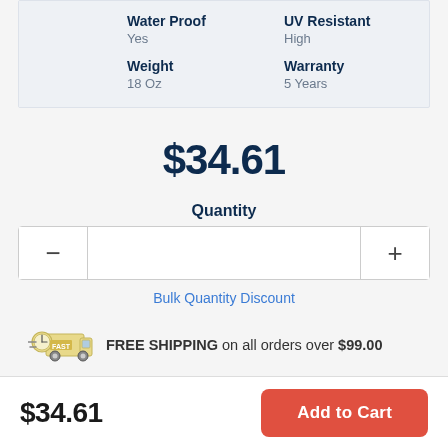| Water Proof | UV Resistant |
| --- | --- |
| Yes | High |
| Weight | Warranty |
| --- | --- |
| 18 Oz | 5 Years |
$34.61
Quantity
Bulk Quantity Discount
[Figure (illustration): Fast shipping truck icon with clock]
FREE SHIPPING on all orders over $99.00
$34.61
Add to Cart